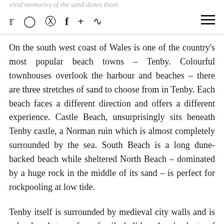vivid memories of the sand dunes there.
On the south west coast of Wales is one of the country's most popular beach towns – Tenby. Colourful townhouses overlook the harbour and beaches – there are three stretches of sand to choose from in Tenby. Each beach faces a different direction and offers a different experience. Castle Beach, unsurprisingly sits beneath Tenby castle, a Norman ruin which is almost completely surrounded by the sea. South Beach is a long dune-backed beach while sheltered North Beach – dominated by a huge rock in the middle of its sand – is perfect for rockpooling at low tide.
Tenby itself is surrounded by medieval city walls and is a fun beach town for a family holiday, there's plenty of shops and cafes to enjoy. From town, visitors can take to the cliffs and follow the Pembrokeshire Coastal Path.